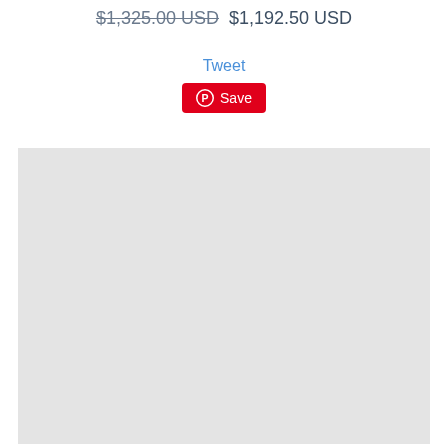$1,325.00 USD  $1,192.50 USD
Tweet
Save
[Figure (photo): Large light gray rectangular image placeholder area]